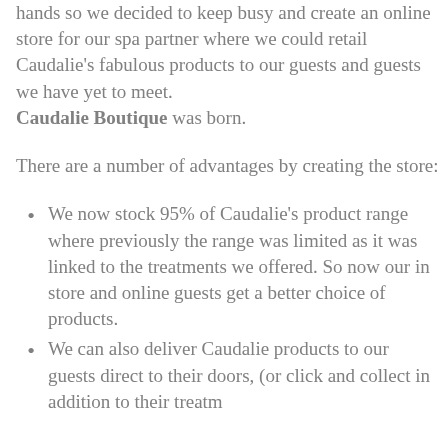hands so we decided to keep busy and create an online store for our spa partner where we could retail Caudalie's fabulous products to our guests and guests we have yet to meet. Caudalie Boutique was born.
There are a number of advantages by creating the store:
We now stock 95% of Caudalie's product range where previously the range was limited as it was linked to the treatments we offered. So now our in store and online guests get a better choice of products.
We can also deliver Caudalie products to our guests direct to their doors, (or click and collect in addition to their treatments)